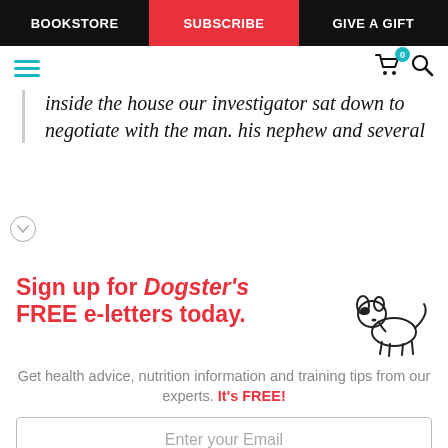BOOKSTORE | SUBSCRIBE | GIVE A GIFT
inside the house our investigator sat down to negotiate with the man. his nephew and several
Sign up for Dogster's FREE e-letters today. Get health advice, nutrition information and training tips from our experts. It's FREE!
[Figure (illustration): Simple line drawing of a small dog with a black spot, side profile]
Enter your Email
YES! SIGN ME UP